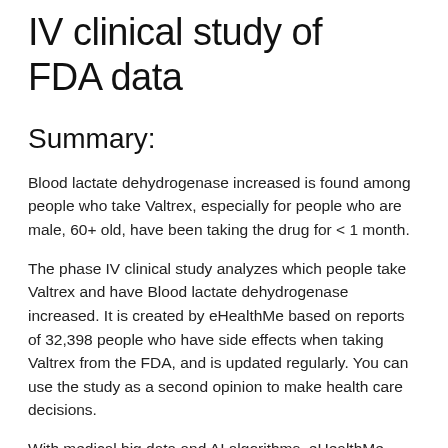IV clinical study of FDA data
Summary:
Blood lactate dehydrogenase increased is found among people who take Valtrex, especially for people who are male, 60+ old, have been taking the drug for < 1 month.
The phase IV clinical study analyzes which people take Valtrex and have Blood lactate dehydrogenase increased. It is created by eHealthMe based on reports of 32,398 people who have side effects when taking Valtrex from the FDA, and is updated regularly. You can use the study as a second opinion to make health care decisions.
With medical big data and AI algorithms, eHealthMe enables everyone to run phase IV clinical trial to detect adverse drug outcomes and monitor